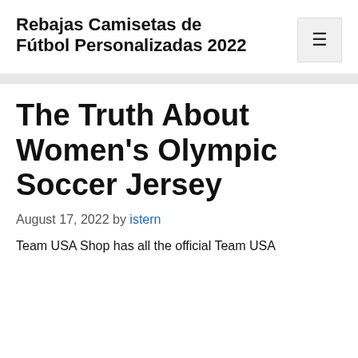Rebajas Camisetas de Fútbol Personalizadas 2022
The Truth About Women's Olympic Soccer Jersey
August 17, 2022 by istern
Team USA Shop has all the official Team USA